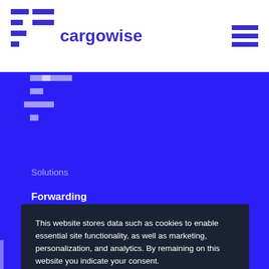cargowise
Solutions
Forwarding
Customs
This website stores data such as cookies to enable essential site functionality, as well as marketing, personalization, and analytics. By remaining on this website you indicate your consent.

Privacy Policy